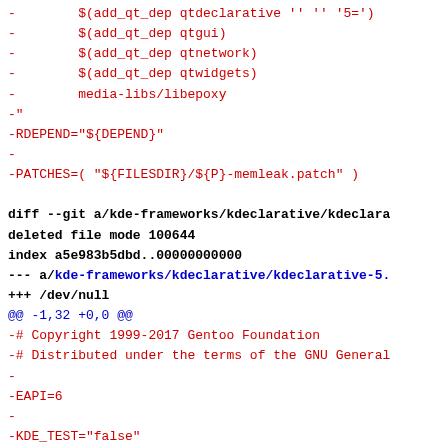- $(add_qt_dep qtdeclarative '' '' '5=')
- $(add_qt_dep qtgui)
- $(add_qt_dep qtnetwork)
- $(add_qt_dep qtwidgets)
- media-libs/libepoxy
-"
-RDEPEND="${DEPEND}"
-
-PATCHES=( "${FILESDIR}/${P}-memleak.patch" )

diff --git a/kde-frameworks/kdeclarative/kdeclara
deleted file mode 100644
index a5e983b5dbd..00000000000
--- a/kde-frameworks/kdeclarative/kdeclarative-5.
+++ /dev/null
@@ -1,32 +0,0 @@
-# Copyright 1999-2017 Gentoo Foundation
-# Distributed under the terms of the GNU General
-
-EAPI=6
-
-KDE_TEST="false"